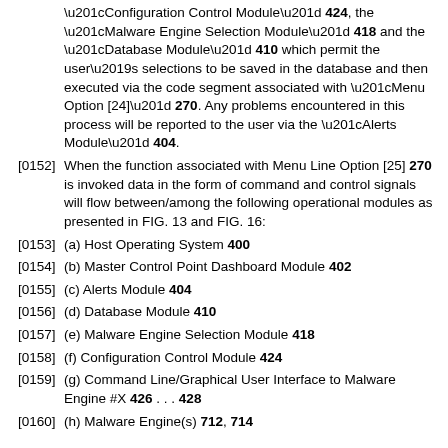“Configuration Control Module” 424, the “Malware Engine Selection Module” 418 and the “Database Module” 410 which permit the user’s selections to be saved in the database and then executed via the code segment associated with “Menu Option [24]” 270. Any problems encountered in this process will be reported to the user via the “Alerts Module” 404.
[0152] When the function associated with Menu Line Option [25] 270 is invoked data in the form of command and control signals will flow between/among the following operational modules as presented in FIG. 13 and FIG. 16:
[0153] (a) Host Operating System 400
[0154] (b) Master Control Point Dashboard Module 402
[0155] (c) Alerts Module 404
[0156] (d) Database Module 410
[0157] (e) Malware Engine Selection Module 418
[0158] (f) Configuration Control Module 424
[0159] (g) Command Line/Graphical User Interface to Malware Engine #X 426 . . . 428
[0160] (h) Malware Engine(s) 712, 714